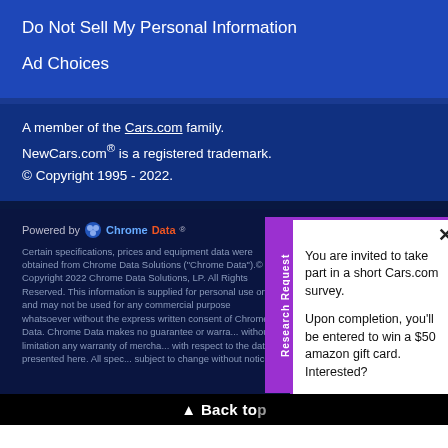Do Not Sell My Personal Information
Ad Choices
A member of the Cars.com family.
NewCars.com® is a registered trademark.
© Copyright 1995 - 2022.
Powered by Chrome Data
Certain specifications, prices and equipment data were obtained from Chrome Data Solutions ("Chrome Data").© Copyright 2022 Chrome Data Solutions, LP. All Rights Reserved. This information is supplied for personal use only and may not be used for any commercial purpose whatsoever without the express written consent of Chrome Data. Chrome Data makes no guarantee or warranty, either expressed or implied, including without limitation any warranty of merchantability or fitness for particular purpose, with respect to the data presented here. All specifications, prices and equipment are subject to change without notice.
You are invited to take part in a short Cars.com survey.

Upon completion, you'll be entered to win a $50 amazon gift card. Interested?
Click here to participate
▲ Back to top